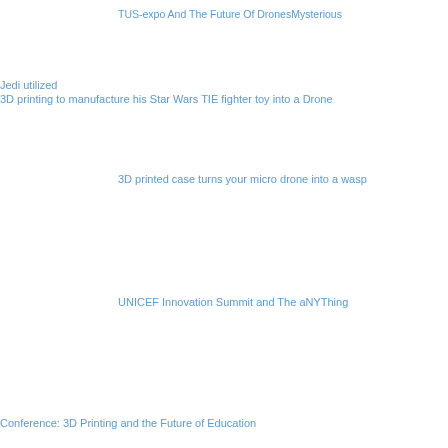TUS-expo And The Future Of DronesMysterious
Jedi utilized
3D printing to manufacture his Star Wars TIE fighter toy into a Drone
3D printed case turns your micro drone into a wasp
UNICEF Innovation Summit and The aNYThing
Conference: 3D Printing and the Future of Education